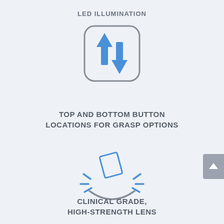LED ILLUMINATION
[Figure (illustration): Icon of a rounded-rectangle button with two arrows: one pointing up and one pointing down, in blue, representing top and bottom button locations.]
TOP AND BOTTOM BUTTON LOCATIONS FOR GRASP OPTIONS
[Figure (illustration): Icon of a diamond/lens shape with blue impact lines/sparks radiating outward, and a gray bowl/surface below, representing a clinical grade high-strength lens.]
CLINICAL GRADE, HIGH-STRENGTH LENS